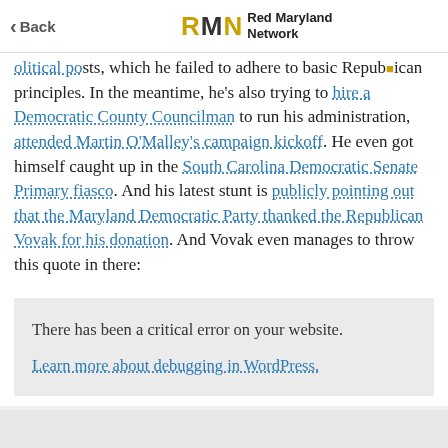Back | Red Maryland Network
political posts, which he failed to adhere to basic Republican principles. In the meantime, he's also trying to hire a Democratic County Councilman to run his administration, attended Martin O'Malley's campaign kickoff. He even got himself caught up in the South Carolina Democratic Senate Primary fiasco. And his latest stunt is publicly pointing out that the Maryland Democratic Party thanked the Republican Vovak for his donation. And Vovak even manages to throw this quote in there:
There has been a critical error on your website.

Learn more about debugging in WordPress.